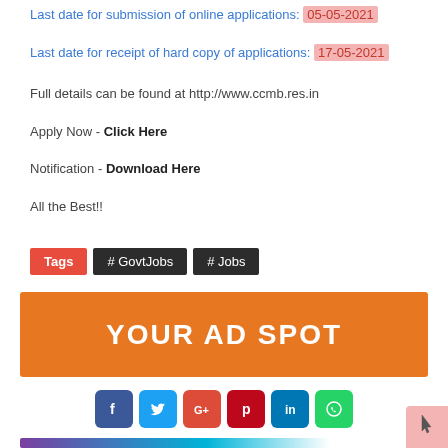Last date for submission of online applications: 05-05-2021
Last date for receipt of hard copy of applications: 17-05-2021
Full details can be found at http://www.ccmb.res.in
Apply Now - Click Here
Notification - Download Here
All the Best!!
Tags  # GovtJobs  # Jobs
[Figure (infographic): Orange advertisement banner with text YOUR AD SPOT]
[Figure (infographic): Social media share buttons: Facebook, Twitter, Google+, Pinterest, LinkedIn, WhatsApp]
[Figure (infographic): Bottom banner strip with purple and blue gradient]